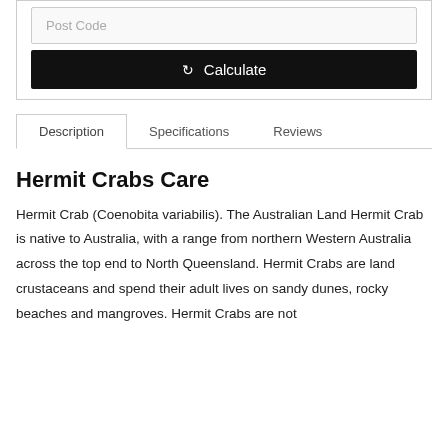[Figure (screenshot): Form section with Post Code input field and Calculate button inside a bordered container]
Description | Specifications | Reviews
Hermit Crabs Care
Hermit Crab (Coenobita variabilis). The Australian Land Hermit Crab is native to Australia, with a range from northern Western Australia across the top end to North Queensland. Hermit Crabs are land crustaceans and spend their adult lives on sandy dunes, rocky beaches and mangroves. Hermit Crabs are not